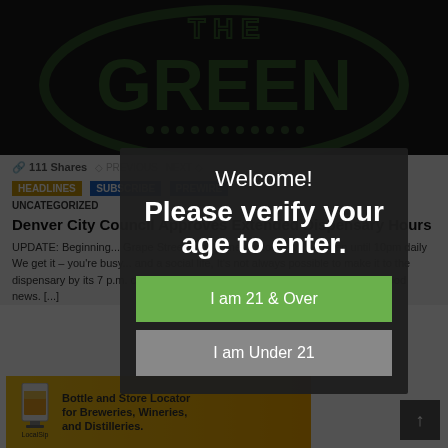[Figure (logo): The Green brand logo - circular green logo with 'THE GREEN' text on dark background]
111 Shares
HEADLINES   UNCATEGORIZED
Denver City Council Approves Extended Dispensary Hours
UPDATE: Beginning... Grape Street and Alameda stores will be open until 10pm daily We get it – you're busy... and a social life, It's not always possible to make it to the dispensary by its 7 p.m. closing time. But don't fret, because we have some good news. [...]
Welcome!
Please verify your age to enter.
I am 21 & Over
I am Under 21
[Figure (logo): LocalSip advertisement banner - Bottle and Store Locator for Breweries, Wineries, and Distilleries]